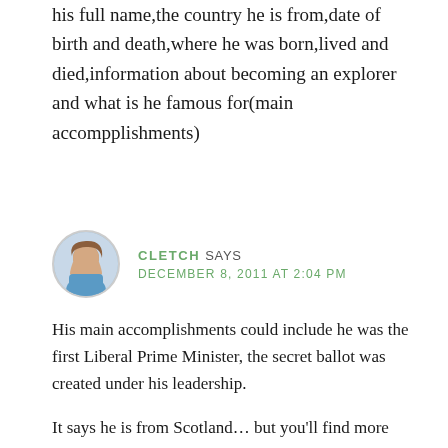his full name,the country he is from,date of birth and death,where he was born,lived and died,information about becoming an explorer and what is he famous for(main accompplishments)
CLETCH SAYS
DECEMBER 8, 2011 AT 2:04 PM
His main accomplishments could include he was the first Liberal Prime Minister, the secret ballot was created under his leadership.
It says he is from Scotland… but you'll find more specific details here: